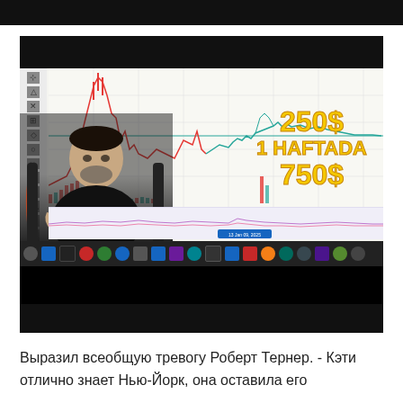[Figure (screenshot): Screenshot of a trading chart video thumbnail showing a candlestick/line chart with yellow bold text overlay reading '250$ 1 HAFTADA 750$', a person sitting in a gaming chair visible in the lower-left, and a taskbar at the bottom of the screen.]
Выразил всеобщую тревогу Роберт Тернер. - Кэти отлично знает Нью-Йорк, она оставила его